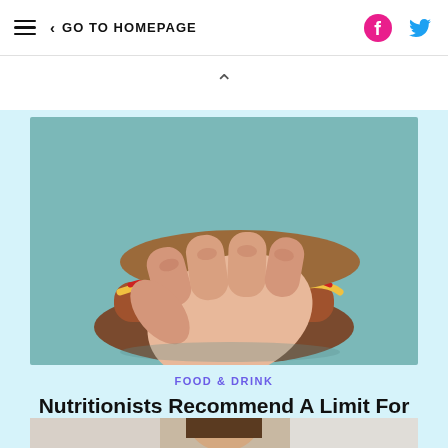GO TO HOMEPAGE
[Figure (illustration): Hand holding a hot dog with mustard and ketchup on a brown bun, illustrated style on teal background]
FOOD & DRINK
Nutritionists Recommend A Limit For Hot Dogs, And It Might Shock You
[Figure (photo): Partial photo of a person, bottom portion visible]